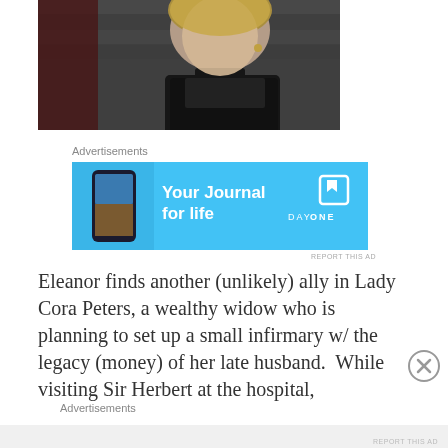[Figure (photo): Screenshot of a webpage showing a dark still image from what appears to be a period drama, featuring a blonde woman in black Victorian-era clothing]
Advertisements
[Figure (screenshot): Advertisement banner for Day One app - 'Your Journal for life' on a light blue background with a phone mockup showing the app]
REPORT THIS AD
Eleanor finds another (unlikely) ally in Lady Cora Peters, a wealthy widow who is planning to set up a small infirmary w/ the legacy (money) of her late husband.  While visiting Sir Herbert at the hospital,
Advertisements
REPORT THIS AD